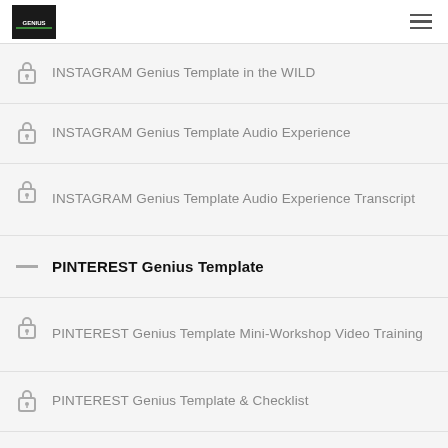INSTAGRAM Genius Template in the WILD
INSTAGRAM Genius Template Audio Experience
INSTAGRAM Genius Template Audio Experience Transcript
PINTEREST Genius Template
PINTEREST Genius Template Mini-Workshop Video Training
PINTEREST Genius Template & Checklist